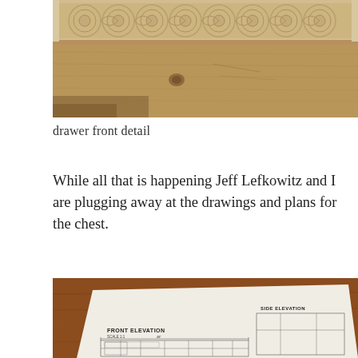[Figure (photo): Close-up photograph of an antique wooden drawer front with intricate carved relief decoration featuring circular floral and scroll patterns along the top edge, with aged, weathered wood grain visible below.]
drawer front detail
While all that is happening Jeff Lefkowitz and I are plugging away at the drawings and plans for the chest.
[Figure (photo): Photograph of architectural or furniture drawings/blueprints laid on a wooden table, showing front elevation and side elevation technical drawings of a chest with dimension lines and annotations.]